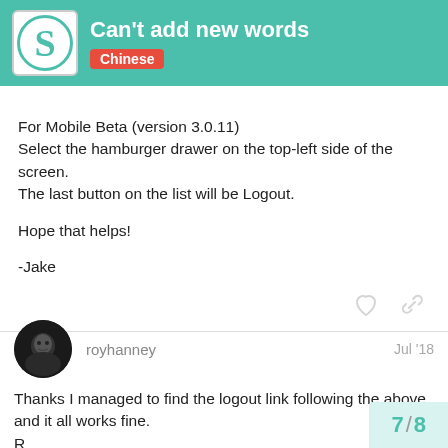Can't add new words — Chinese
For Mobile Beta (version 3.0.11)
Select the hamburger drawer on the top-left side of the screen.
The last button on the list will be Logout.

Hope that helps!

-Jake
royhanney — Jul '18
Thanks I managed to find the logout link following the above and it all works fine.
R
7 / 8